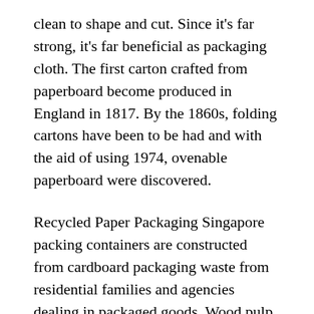clean to shape and cut. Since it's far strong, it's far beneficial as packaging cloth. The first carton crafted from paperboard become produced in England in 1817. By the 1860s, folding cartons have been to be had and with the aid of using 1974, ovenable paperboard were discovered.
Recycled Paper Packaging Singapore packing containers are constructed from cardboard packaging waste from residential families and agencies dealing in packaged goods. Wood pulp producers regularly deal without delay in recycled cardboard substances, repurposing them into new cardboard packing containers. The electricity financial savings furnished with the aid of using recycling cardboard is anticipated to be 24 percent. Prices of recyclable cardboard fell in 2008 after which extended in 2009. It is less difficult to recycle cardboard packaging from meals